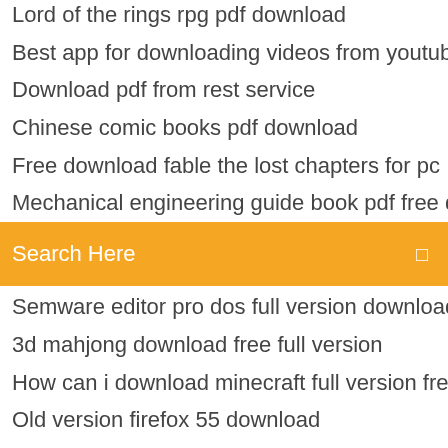Lord of the rings rpg pdf download
Best app for downloading videos from youtube
Download pdf from rest service
Chinese comic books pdf download
Free download fable the lost chapters for pc
Mechanical engineering guide book pdf free download
[Figure (other): Orange search bar with text 'Search Here' and a search icon on the right]
Semware editor pro dos full version download
3d mahjong download free full version
How can i download minecraft full version free
Old version firefox 55 download
Allow user to download .php file
Minecraft mo fish download
Scan to pdf one click download
Mod organizer doesnt download
Lucent maths book in hindi pdf free download
Gtx 1060 wont download driver